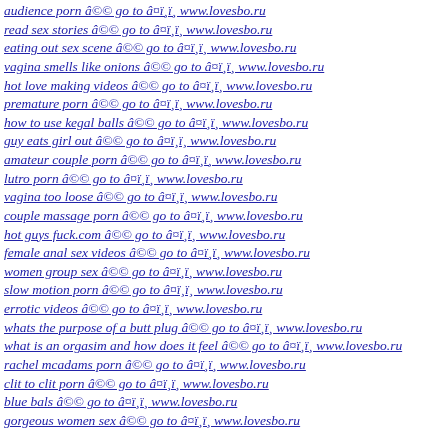audience porn â©© go to â¤ï¸ï¸ www.lovesbo.ru
read sex stories â©© go to â¤ï¸ï¸ www.lovesbo.ru
eating out sex scene â©© go to â¤ï¸ï¸ www.lovesbo.ru
vagina smells like onions â©© go to â¤ï¸ï¸ www.lovesbo.ru
hot love making videos â©© go to â¤ï¸ï¸ www.lovesbo.ru
premature porn â©© go to â¤ï¸ï¸ www.lovesbo.ru
how to use kegal balls â©© go to â¤ï¸ï¸ www.lovesbo.ru
guy eats girl out â©© go to â¤ï¸ï¸ www.lovesbo.ru
amateur couple porn â©© go to â¤ï¸ï¸ www.lovesbo.ru
lutro porn â©© go to â¤ï¸ï¸ www.lovesbo.ru
vagina too loose â©© go to â¤ï¸ï¸ www.lovesbo.ru
couple massage porn â©© go to â¤ï¸ï¸ www.lovesbo.ru
hot guys fuck.com â©© go to â¤ï¸ï¸ www.lovesbo.ru
female anal sex videos â©© go to â¤ï¸ï¸ www.lovesbo.ru
women group sex â©© go to â¤ï¸ï¸ www.lovesbo.ru
slow motion porn â©© go to â¤ï¸ï¸ www.lovesbo.ru
errotic videos â©© go to â¤ï¸ï¸ www.lovesbo.ru
whats the purpose of a butt plug â©© go to â¤ï¸ï¸ www.lovesbo.ru
what is an orgasim and how does it feel â©© go to â¤ï¸ï¸ www.lovesbo.ru
rachel mcadams porn â©© go to â¤ï¸ï¸ www.lovesbo.ru
clit to clit porn â©© go to â¤ï¸ï¸ www.lovesbo.ru
blue bals â©© go to â¤ï¸ï¸ www.lovesbo.ru
gorgeous women sex â©© go to â¤ï¸ï¸ www.lovesbo.ru